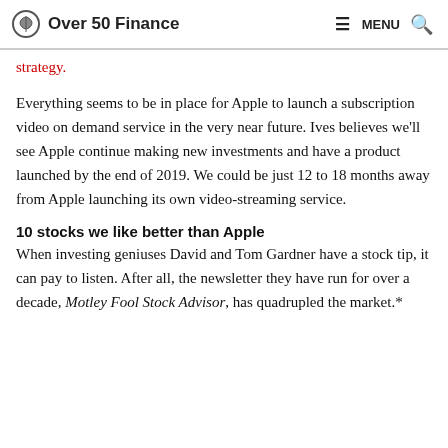Over 50 Finance   MENU
strategy.
Everything seems to be in place for Apple to launch a subscription video on demand service in the very near future. Ives believes we'll see Apple continue making new investments and have a product launched by the end of 2019. We could be just 12 to 18 months away from Apple launching its own video-streaming service.
10 stocks we like better than Apple
When investing geniuses David and Tom Gardner have a stock tip, it can pay to listen. After all, the newsletter they have run for over a decade, Motley Fool Stock Advisor, has quadrupled the market.*